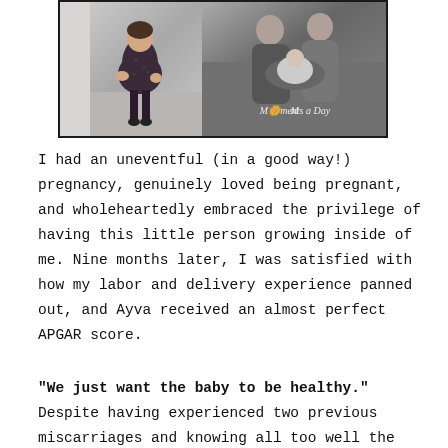[Figure (photo): Two-photo strip: left photo shows a pregnant woman in a dark polka-dot dress holding her baby bump; right photo is a black-and-white image of a couple holding a newborn baby, with 'Moments a Day' watermark]
I had an uneventful (in a good way!) pregnancy, genuinely loved being pregnant, and wholeheartedly embraced the privilege of having this little person growing inside of me. Nine months later, I was satisfied with how my labor and delivery experience panned out, and Ayva received an almost perfect APGAR score.
“We just want the baby to be healthy.” Despite having experienced two previous miscarriages and knowing all too well the bad things that can happen